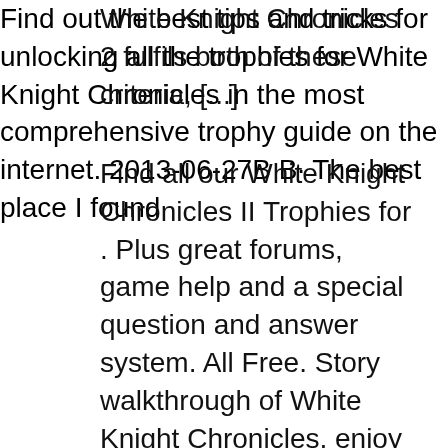White Knight Chronicles 2 fulfils both of these criteria, [...]
Find all our White Knight Chronicles II Trophies for . Plus great forums, game help and a special question and answer system. All Free. Story walkthrough of White Knight Chronicles, enjoy and hope you find it helpful. In true HD Quality
Find out the best tips and tricks for unlocking all the trophies for White Knight Chronicles in the most comprehensive trophy guide on the internet. 2013-06-27В В· The best place I found